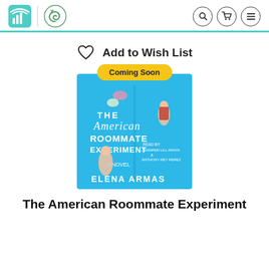Audiobooks from Libro.fm – navigation header with search, cart, and menu icons
Add to Wish List
[Figure (illustration): Book cover for The American Roommate Experiment by Elena Armas, audiobook. Blue background with illustrated characters and 'Coming Soon' badge. Read by Jennifer Lill Araya & Anthony Rey Perez.]
The American Roommate Experiment